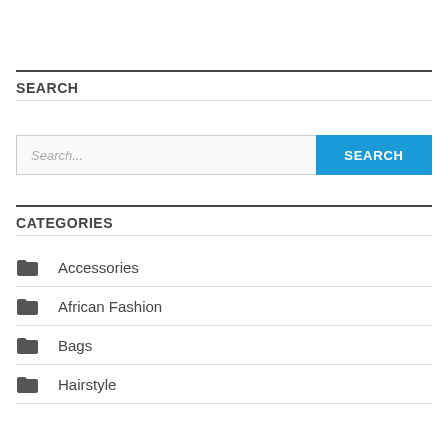SEARCH
Search...
CATEGORIES
Accessories
African Fashion
Bags
Hairstyle